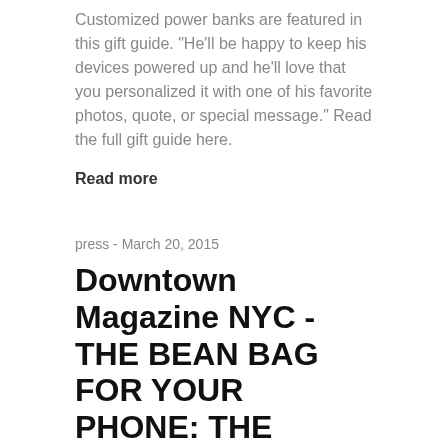Customized power banks are featured in this gift guide. "He'll be happy to keep his devices powered up and he'll love that you personalized it with one of his favorite photos, quote, or special message." Read the full gift guide here.
Read more
press - March 20, 2015
Downtown Magazine NYC - THE BEAN BAG FOR YOUR PHONE: THE TODDY WEDGE
[Figure (photo): Partial image of the Toddy Wedge product at the bottom of the page]